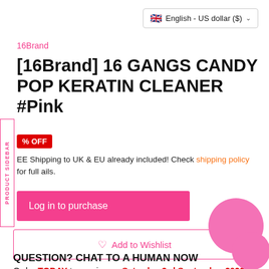[Figure (screenshot): UK flag emoji for language selector]
English - US dollar ($)
16Brand
[16Brand] 16 GANGS CANDY POP KERATIN CLEANER #Pink
% OFF
EE Shipping to UK & EU already included! Check shipping policy for full ails.
Log in to purchase
♡  Add to Wishlist
Order TODAY to receive on Saturday 3rd September 2022
QUESTION? CHAT TO A HUMAN NOW
PRODUCT SIDEBAR